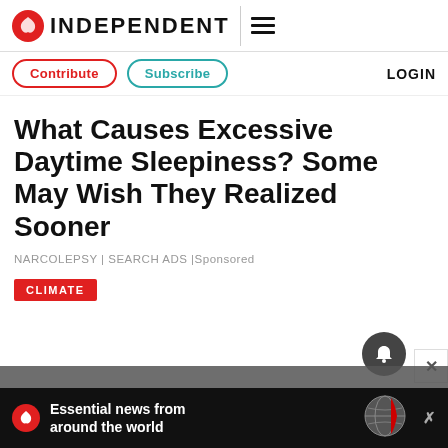INDEPENDENT
Contribute | Subscribe | LOGIN
What Causes Excessive Daytime Sleepiness? Some May Wish They Realized Sooner
NARCOLEPSY | SEARCH ADS | Sponsored
CLIMATE
Essential news from around the world